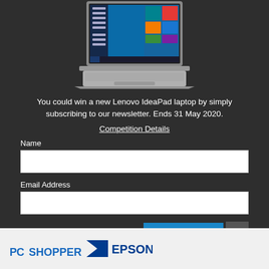[Figure (screenshot): Lenovo IdeaPad laptop with Windows 10 interface visible on screen, silver/grey color, shown open from a front-angle view on a dark background]
You could win a new Lenovo IdeaPad laptop by simply subscribing to our newsletter. Ends 31 May 2020.
Competition Details
Name
Email Address
Subscribe >
[Figure (logo): PC Shopper logo in blue text on the left, and Epson logo with blue triangle/chevron on the right, on a light grey background]